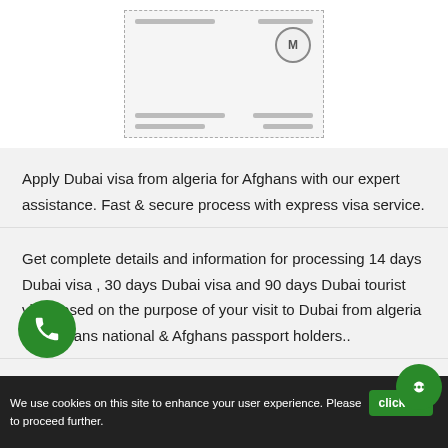[Figure (illustration): A scanned document/visa certificate shown inside a dashed border box with a circular stamp/seal on the upper right and horizontal lines representing text.]
Apply Dubai visa from algeria for Afghans with our expert assistance. Fast & secure process with express visa service.
Get complete details and information for processing 14 days Dubai visa , 30 days Dubai visa and 90 days Dubai tourist visa based on the purpose of your visit to Dubai from algeria for Afghans national & Afghans passport holders..
To visit Dubai, Abu Dhabi, Ajman, Sharjah, Fujairah, Ras Al Khaimah and Umm Al Quwain, you will require a UAE tourist visa that is valid for an entire UAE.
FAQs About Visa & Other Topics
We use cookies on this site to enhance your user experience. Please click here to proceed further.